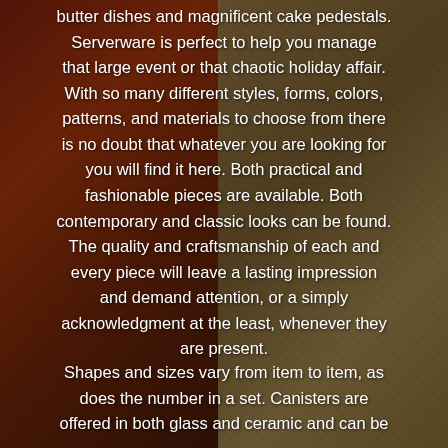[Figure (photo): Dark background photograph showing ornate decorative items — a red/crimson embossed or carved piece on the left and a golden/bronze ornamental piece on the right, likely serving ware or decorative vessels.]
butter dishes and magnificent cake pedestals. Serverware is perfect to help you manage that large event or that chaotic holiday affair. With so many different styles, forms, colors, patterns, and materials to choose from there is no doubt that whatever you are looking for you will find it here. Both practical and fashionable pieces are available. Both contemporary and classic looks can be found. The quality and craftsmanship of each and every piece will leave a lasting impression and demand attention, or a simply acknowledgment at the least, whenever they are present.
Shapes and sizes vary from item to item, as does the number in a set. Canisters are offered in both glass and ceramic and can be